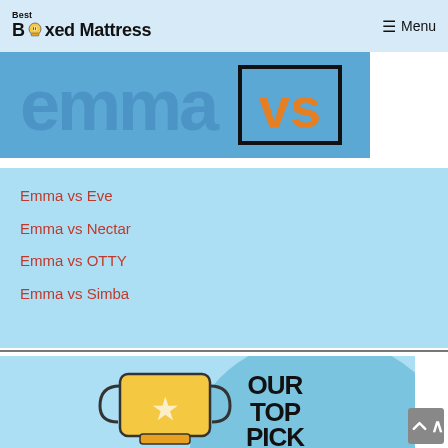Best Boxed Mattress — Menu
[Figure (illustration): Blue banner showing 'emma' text logo and 'vs' in orange bold text in a dark-outlined box]
Emma vs Eve
Emma vs Nectar
Emma vs OTTY
Emma vs Simba
[Figure (illustration): Blue banner with yellow trophy icon on left and bold black text reading 'OUR TOP PICK' on right]